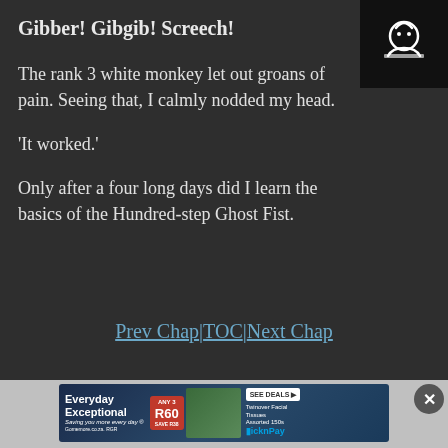Gibber! Gibgib! Screech!
The rank 3 white monkey let out groans of pain. Seeing that, I calmly nodded my head.
‘It worked.’
Only after a four long days did I learn the basics of the Hundred‑step Ghost Fist.
Prev Chap | TOC | Next Chap
[Figure (other): Advertisement banner for Pick n Pay: Everyday Exceptional, ANY 3 R60 SAVE R38, Twinover Facial Tissues Assorted 150s, SEE DEALS, Pick n Pay logo]